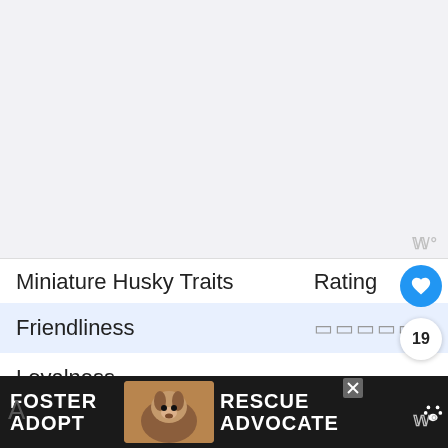[Figure (photo): Large empty light gray area representing a photo or image placeholder at the top of the page]
| Miniature Husky Traits | Rating |
| --- | --- |
| Friendliness | □□□□□ |
| Loyalness | □□□□ |
[Figure (photo): Advertisement banner at bottom: dark background with a beagle/hound dog photo, text FOSTER ADOPT and RESCUE ADVOCATE in white bold letters, with a close button]